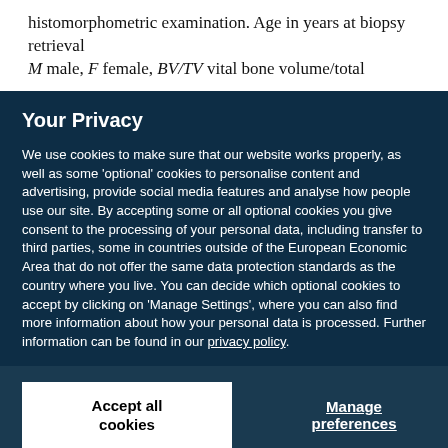histomorphometric examination. Age in years at biopsy retrieval
M male, F female, BV/TV vital bone volume/total
Your Privacy
We use cookies to make sure that our website works properly, as well as some 'optional' cookies to personalise content and advertising, provide social media features and analyse how people use our site. By accepting some or all optional cookies you give consent to the processing of your personal data, including transfer to third parties, some in countries outside of the European Economic Area that do not offer the same data protection standards as the country where you live. You can decide which optional cookies to accept by clicking on 'Manage Settings', where you can also find more information about how your personal data is processed. Further information can be found in our privacy policy.
Accept all cookies
Manage preferences